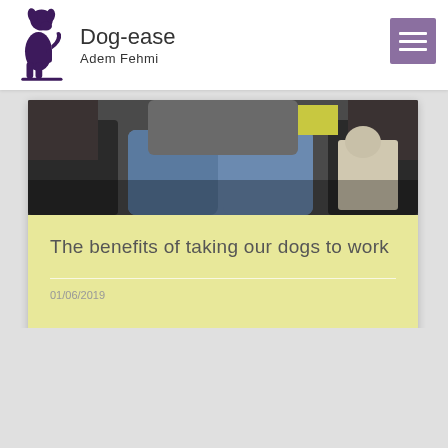[Figure (logo): Dog-ease website header with purple dog silhouette logo, site name 'Dog-ease', author 'Adem Fehmi', and purple hamburger menu icon]
[Figure (photo): Partial photo showing a person sitting with a dog, visible from waist down wearing jeans, dark sofa visible]
The benefits of taking our dogs to work
01/06/2019